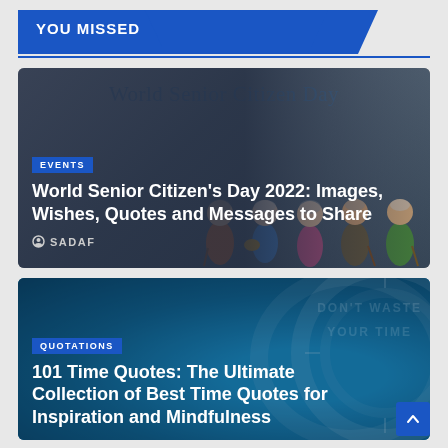YOU MISSED
[Figure (illustration): Article card: World Senior Citizen Day with cartoon elderly people illustration and dark gradient overlay]
EVENTS
World Senior Citizen's Day 2022: Images, Wishes, Quotes and Messages to Share
SADAF
[Figure (illustration): Article card: 101 Time Quotes with teal clock background]
QUOTATIONS
101 Time Quotes: The Ultimate Collection of Best Time Quotes for Inspiration and Mindfulness